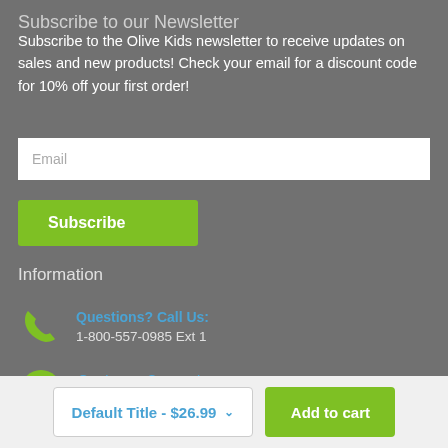Subscribe to our Newsletter
Subscribe to the Olive Kids newsletter to receive updates on sales and new products! Check your email for a discount code for 10% off your first order!
Email
Subscribe
Information
Questions? Call Us:
1-800-557-0985 Ext 1
Customer Support
info@olivekids.ca
Default Title - $26.99   Add to cart